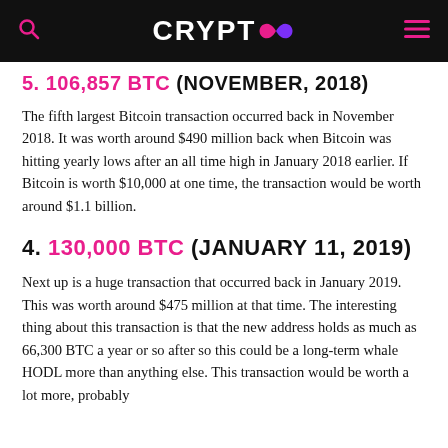CRYPTO∞
5. [amount] BTC (NOVEMBER, 2018)
The fifth largest Bitcoin transaction occurred back in November 2018. It was worth around $490 million back when Bitcoin was hitting yearly lows after an all time high in January 2018 earlier. If Bitcoin is worth $10,000 at one time, the transaction would be worth around $1.1 billion.
4. 130,000 BTC (JANUARY 11, 2019)
Next up is a huge transaction that occurred back in January 2019. This was worth around $475 million at that time. The interesting thing about this transaction is that the new address holds as much as 66,300 BTC a year or so after so this could be a long-term whale HODL more than anything else. This transaction would be worth a lot more, probably